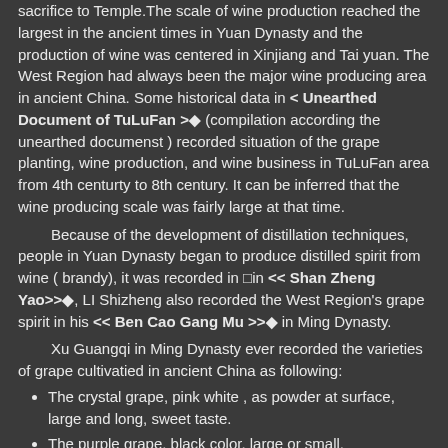sacrifice to Temple.The scale of wine production reached the largest in the ancient times in Yuan Dynasty and the production of wine was centered in Xinjiang and Tai yuan. The West Region had always been the major wine producing area in ancient China. Some historical data in < Unearthed Document of TuLuFan >◆ (compilation according the unearthed documenst ) recorded situation of the grape planting, wine production, and wine business in TuLuFan area from 4th centurty to 8th century. It can be inferred that the wine producing scale was fairly large at that time.
Because of the development of distillation techniques, people in Yuan Dynasty began to produce distilled spirit from wine ( brandy), it was recorded in □in << Shan Zheng Yao>>◆, LI Shizheng also recorded the West Region's grape spirit in his << Ben Cao Gang Mu >>◆ in Ming Dynasty.
Xu Guangqi in Ming Dynasty ever recorded the varieties of grape cultivatied in ancient China as following:
The crystal grape, pink white , as powder at surface, large and long, sweet taste.
The purple grape, black color, large or small.